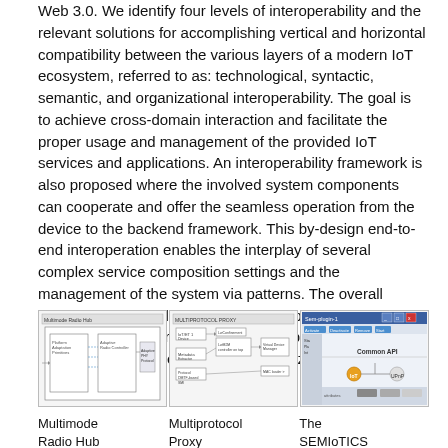Web 3.0. We identify four levels of interoperability and the relevant solutions for accomplishing vertical and horizontal compatibility between the various layers of a modern IoT ecosystem, referred to as: technological, syntactic, semantic, and organizational interoperability. The goal is to achieve cross-domain interaction and facilitate the proper usage and management of the provided IoT services and applications. An interoperability framework is also proposed where the involved system components can cooperate and offer the seamless operation from the device to the backend framework. This by-design end-to-end interoperation enables the interplay of several complex service composition settings and the management of the system via patterns. The overall proposal is adopted by the EU funded project SEMIoTICS as an enabler towards the IoT and Web 3.0, even when products from different vendors are utilized.
[Figure (schematic): Multimode Radio Hub block diagram schematic]
[Figure (schematic): Multiprotocol Proxy block diagram schematic]
[Figure (screenshot): The SEMIoTICS Common API screenshot with UPnP]
Multimode Radio Hub
Multiprotocol Proxy
The SEMIoTICS